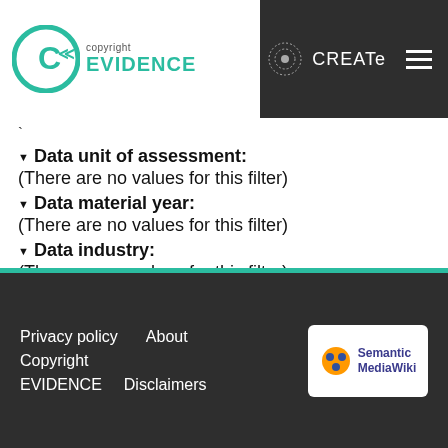copyright EVIDENCE | CREATe
`
▼ Data unit of assessment:
(There are no values for this filter)
▼ Data material year:
(There are no values for this filter)
▼ Data industry:
(There are no values for this filter)
There are no results for this report.
Privacy policy   About
Copyright EVIDENCE   Disclaimers
Semantic MediaWiki